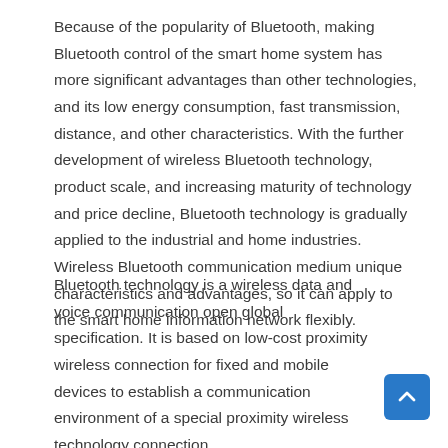Because of the popularity of Bluetooth, making Bluetooth control of the smart home system has more significant advantages than other technologies, and its low energy consumption, fast transmission, distance, and other characteristics. With the further development of wireless Bluetooth technology, product scale, and increasing maturity of technology and price decline, Bluetooth technology is gradually applied to the industrial and home industries. Wireless Bluetooth communication medium unique characteristics and advantages, so it can apply to the smart home information network flexibly.
Bluetooth technology is a wireless data and voice communication open global specification. It is based on low-cost proximity wireless connection for fixed and mobile devices to establish a communication environment of a special proximity wireless technology connection.